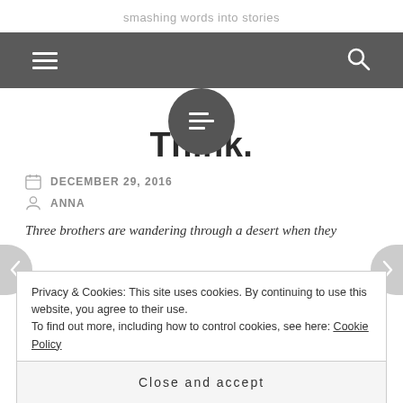smashing words into stories
[Figure (screenshot): Dark grey navigation bar with hamburger menu icon on left and search icon on right, and a circular dark menu button overlapping below center]
Think.
DECEMBER 29, 2016
ANNA
Three brothers are wandering through a desert when they
Privacy & Cookies: This site uses cookies. By continuing to use this website, you agree to their use. To find out more, including how to control cookies, see here: Cookie Policy
Close and accept